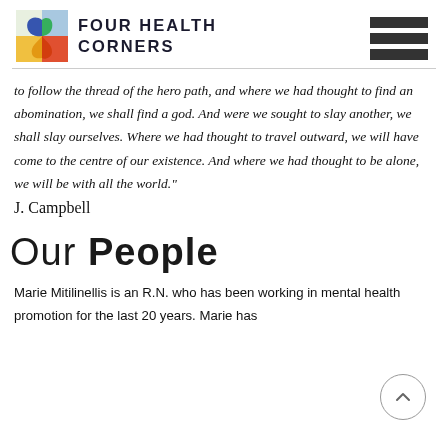[Figure (logo): Four Health Corners logo with colorful leaf/butterfly SVG and text 'FOUR HEALTH CORNERS' in dark uppercase letters, plus hamburger menu icon]
to follow the thread of the hero path, and where we had thought to find an abomination, we shall find a god. And were we sought to slay another, we shall slay ourselves. Where we had thought to travel outward, we will have come to the centre of our existence. And where we had thought to be alone, we will be with all the world."
J. Campbell
OUR PEOPLE
Marie Mitilinellis is an R.N. who has been working in mental health promotion for the last 20 years. Marie has